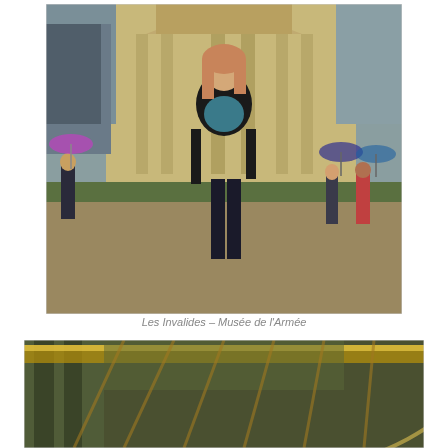[Figure (photo): A woman standing in front of Les Invalides - Musée de l'Armée in Paris. She is wearing a black jacket and teal top, smiling at the camera. The ornate stone facade of the building is visible behind her, and other tourists with umbrellas are visible in the background on a cloudy day.]
Les Invalides – Musée de l'Armée
[Figure (photo): A close-up photo of ornate architectural details, appearing to show golden and green decorative ceiling or dome elements, likely the interior or exterior decorative details of Les Invalides or a similar French landmark.]